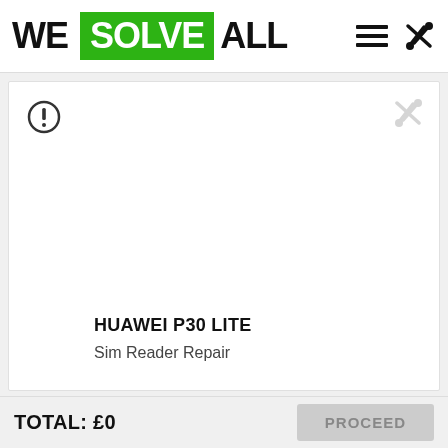WE SOLVE ALL
[Figure (screenshot): Product/service card showing a warning icon (circle with exclamation mark) on the top left and a greyed-out tools icon on the top right. The card is mostly blank/white, representing no image loaded.]
HUAWEI P30 LITE
Sim Reader Repair
TOTAL: £0    PROCEED